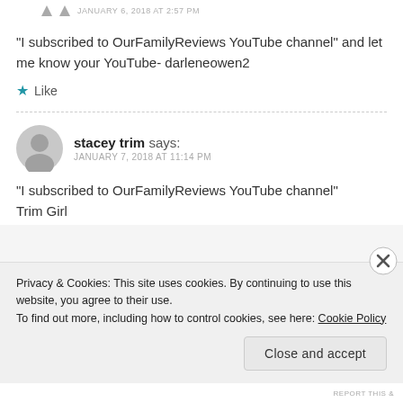JANUARY 6, 2018 AT 2:57 PM
“I subscribed to OurFamilyReviews YouTube channel” and let me know your YouTube- darleneowen2
★ Like
stacey trim says: JANUARY 7, 2018 AT 11:14 PM
“I subscribed to OurFamilyReviews YouTube channel” Trim Girl
Privacy & Cookies: This site uses cookies. By continuing to use this website, you agree to their use.
To find out more, including how to control cookies, see here: Cookie Policy
Close and accept